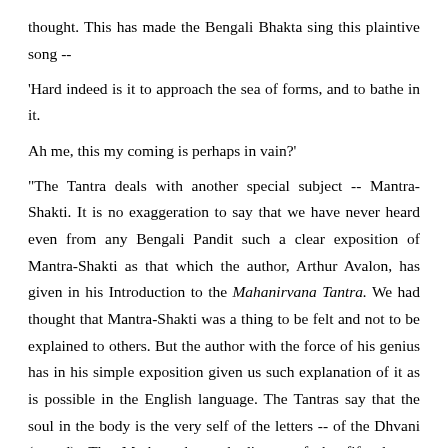thought. This has made the Bengali Bhakta sing this plaintive song --

'Hard indeed is it to approach the sea of forms, and to bathe in it.

Ah me, this my coming is perhaps in vain?'

"The Tantra deals with another special subject -- Mantra-Shakti. It is no exaggeration to say that we have never heard even from any Bengali Pandit such a clear exposition of Mantra-Shakti as that which the author, Arthur Avalon, has given in his Introduction to the Mahanirvana Tantra. We had thought that Mantra-Shakti was a thing to be felt and not to be explained to others. But the author with the force of his genius has in his simple exposition given us such explanation of it as is possible in the English language. The Tantras say that the soul in the body is the very self of the letters -- of the Dhvani (sound). The Mother, the embodiment of the fifty letters (Varna), is present in the various letters in the different Cakras. Like the